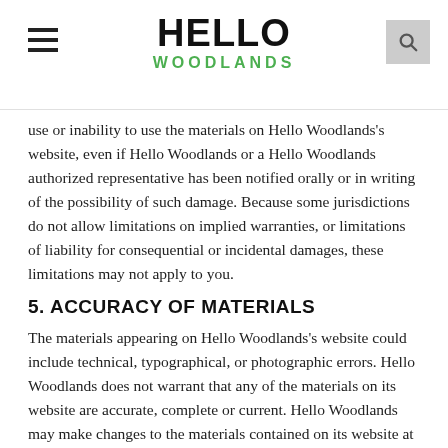HELLO WOODLANDS
use or inability to use the materials on Hello Woodlands's website, even if Hello Woodlands or a Hello Woodlands authorized representative has been notified orally or in writing of the possibility of such damage. Because some jurisdictions do not allow limitations on implied warranties, or limitations of liability for consequential or incidental damages, these limitations may not apply to you.
5. ACCURACY OF MATERIALS
The materials appearing on Hello Woodlands's website could include technical, typographical, or photographic errors. Hello Woodlands does not warrant that any of the materials on its website are accurate, complete or current. Hello Woodlands may make changes to the materials contained on its website at any time without notice. However Hello Woodlands does not make any commitment to update the materials.